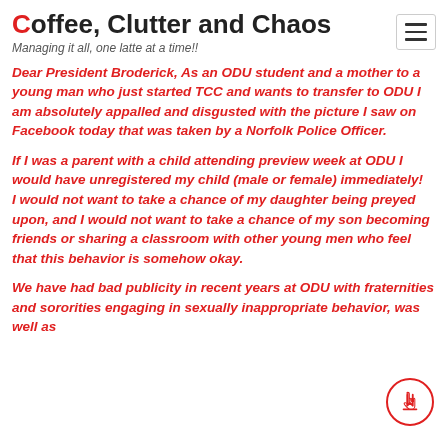Coffee, Clutter and Chaos — Managing it all, one latte at a time!!
Dear President Broderick, As an ODU student and a mother to a young man who just started TCC and wants to transfer to ODU I am absolutely appalled and disgusted with the picture I saw on Facebook today that was taken by a Norfolk Police Officer.
If I was a parent with a child attending preview week at ODU I would have unregistered my child (male or female) immediately!   I would not want to take a chance of my daughter being preyed upon, and I would not want to take a chance of my son becoming friends or sharing a classroom with other young men who feel that this behavior is somehow okay.
We have had bad publicity in recent years at ODU with fraternities and sororities engaging in sexually inappropriate behavior, was well as